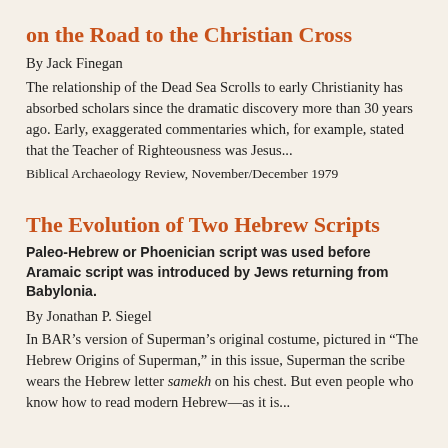on the Road to the Christian Cross
By Jack Finegan
The relationship of the Dead Sea Scrolls to early Christianity has absorbed scholars since the dramatic discovery more than 30 years ago. Early, exaggerated commentaries which, for example, stated that the Teacher of Righteousness was Jesus...
Biblical Archaeology Review, November/December 1979
The Evolution of Two Hebrew Scripts
Paleo-Hebrew or Phoenician script was used before Aramaic script was introduced by Jews returning from Babylonia.
By Jonathan P. Siegel
In BAR’s version of Superman’s original costume, pictured in “The Hebrew Origins of Superman,” in this issue, Superman the scribe wears the Hebrew letter samekh on his chest. But even people who know how to read modern Hebrew—as it is...